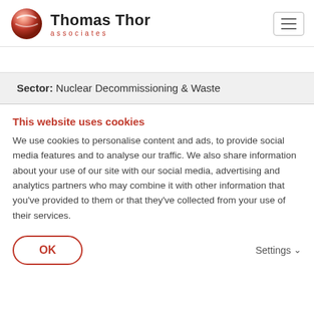Thomas Thor associates
Sector: Nuclear Decommissioning & Waste
This website uses cookies
We use cookies to personalise content and ads, to provide social media features and to analyse our traffic. We also share information about your use of our site with our social media, advertising and analytics partners who may combine it with other information that you've provided to them or that they've collected from your use of their services.
OK
Settings